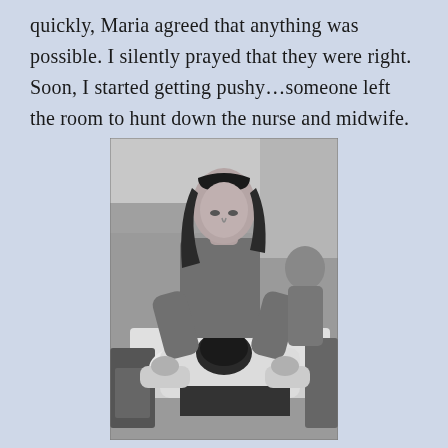quickly, Maria agreed that anything was possible. I silently prayed that they were right. Soon, I started getting pushy…someone left the room to hunt down the nurse and midwife.
[Figure (photo): Black and white photograph showing a woman with long dark hair leaning over a patient lying on a medical bed or table, appearing to provide physical support or massage during labor. Another person is partially visible in the background.]